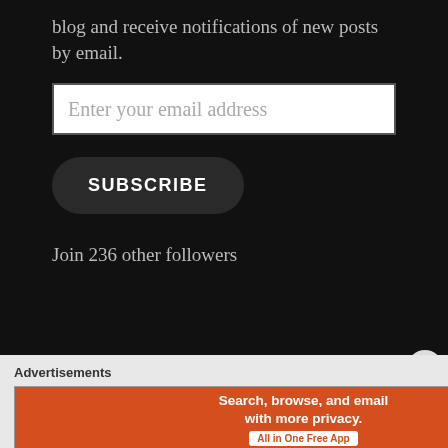blog and receive notifications of new posts by email.
[Figure (screenshot): Email input field with placeholder text 'Enter your email address']
[Figure (screenshot): Subscribe button, dark rounded rectangle with white bold text 'SUBSCRIBE']
Join 236 other followers
Advertisements
[Figure (screenshot): DuckDuckGo advertisement banner: orange left side with text 'Search, browse, and email with more privacy. All in One Free App', dark right side with DuckDuckGo logo and brand name]